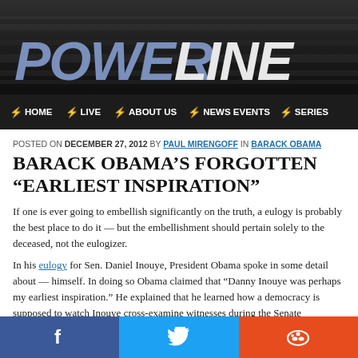[Figure (logo): PowerLine website header banner with dark background and steel pipe textures. 'POWER' in blue-grey italic bold text and 'LINE' in white italic bold text.]
HOME  LIVE  ABOUT US  NEWS EVENTS  SERIES
POSTED ON DECEMBER 27, 2012 BY PAUL MIRENGOFF IN BARACK OBAMA
BARACK OBAMA'S FORGOTTEN "EARLIEST INSPIRATION"
If one is ever going to embellish significantly on the truth, a eulogy is probably the best place to do it — but the embellishment should pertain solely to the deceased, not the eulogizer.
In his eulogy for Sen. Daniel Inouye, President Obama spoke in some detail about — himself. In doing so Obama claimed that "Danny Inouye was perhaps my earliest inspiration." He explained that he learned how a democracy is supposed to work by watching Inouye cross-examine witnesses during the Senate Watergate hearings. With that inspiration, Obama asserted, "I might never have considered a career in public service; I
[Figure (other): Social sharing bar with Facebook (blue), Twitter (blue), and Reddit (orange-red) buttons with icons.]